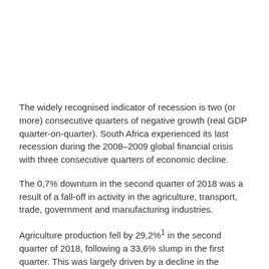The widely recognised indicator of recession is two (or more) consecutive quarters of negative growth (real GDP quarter-on-quarter). South Africa experienced its last recession during the 2008–2009 global financial crisis with three consecutive quarters of economic decline.
The 0,7% downturn in the second quarter of 2018 was a result of a fall-off in activity in the agriculture, transport, trade, government and manufacturing industries.
Agriculture production fell by 29,2%¹ in the second quarter of 2018, following a 33,6% slump in the first quarter. This was largely driven by a decline in the production of field crops and horticultural products. Continued drought conditions in Western Cape and a severe hailstorm in Mpumalanga, resulting in extensive crop...